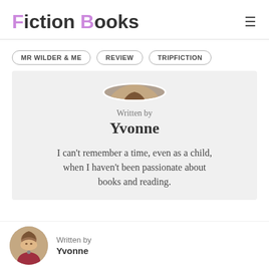Fiction Books
MR WILDER & ME
REVIEW
TRIPFICTION
[Figure (photo): Round profile photo of author Yvonne]
Written by
Yvonne
I can't remember a time, even as a child, when I haven't been passionate about books and reading.
[Figure (photo): Small round profile photo of Yvonne in bottom bar]
Written by
Yvonne